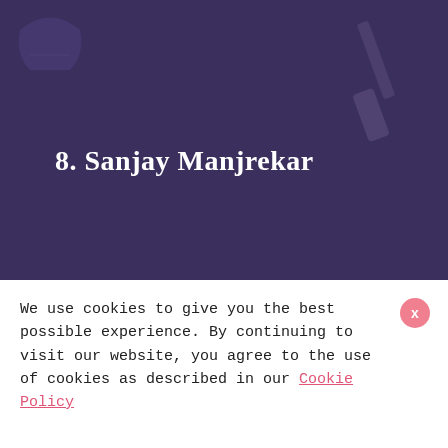8. Sanjay Manjrekar
Sanjay Manjrekar is an Indian cricket commentator and former cricketer. He does commentary in both English and Hindi languages. Sanjay is a perfect analyst and pitch reporter of the game. He sometimes creates controversies from his words. For example, in IPL 2017, he called Pollard “brainless.” Later he confirmed that he said “range” instead. But in many ways, he is
We use cookies to give you the best possible experience. By continuing to visit our website, you agree to the use of cookies as described in our Cookie Policy